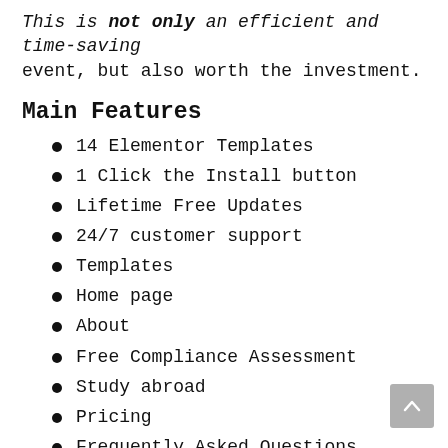This is not only an efficient and time-saving event, but also worth the investment.
Main Features
14 Elementor Templates
1 Click the Install button
Lifetime Free Updates
24/7 customer support
Templates
Home page
About
Free Compliance Assessment
Study abroad
Pricing
Frequently Asked Questions
Visa
Portfolio